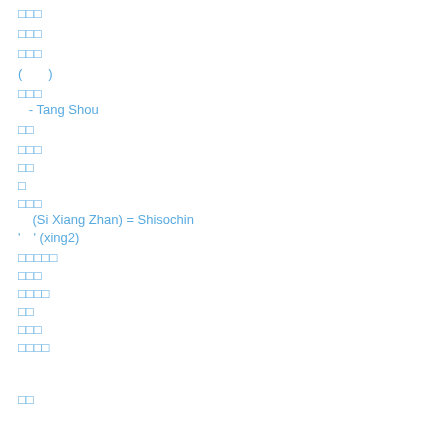□□□
□□□
□□□
(　　)
□□□
- Tang Shou
□□
□□□
□□
□
□□□
(Si Xiang Zhan) = Shisochin
'　' (xing2)
□□□□□
□□□
□□□□
□□
□□□
□□□□
□□